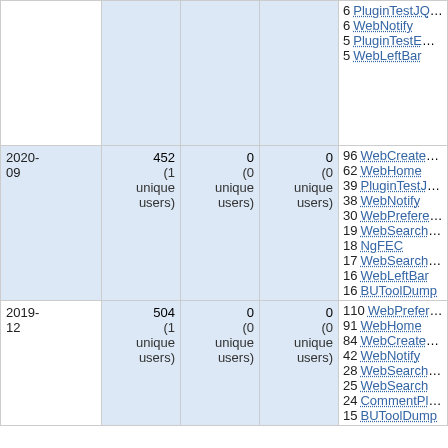| Date | Views | Saves | Downloads | Top Topics |
| --- | --- | --- | --- | --- |
|  |  |  |  | 6 PluginTestJQueryPlugin
6 WebNotify
5 PluginTestEmptyPlugin
5 WebLeftBar |
| 2020-09 | 452 (1 unique users) | 0 (0 unique users) | 0 (0 unique users) | 96 WebCreateNewTopic
62 WebHome
39 PluginTestJQueryPlugin
38 WebNotify
30 WebPreferences
19 WebSearchAttachments
18 NgFEC
17 WebSearchAdvanced
16 WebLeftBar
16 BUToolDump |
| 2019-12 | 504 (1 unique users) | 0 (0 unique users) | 0 (0 unique users) | 110 WebPreferences
91 WebHome
84 WebCreateNewTopic
42 WebNotify
28 WebSearchAdvanced
25 WebSearch
24 CommentPluginExample
15 BUToolDump |